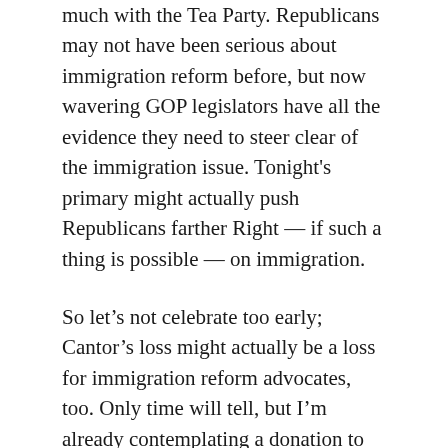much with the Tea Party. Republicans may not have been serious about immigration reform before, but now wavering GOP legislators have all the evidence they need to steer clear of the immigration issue. Tonight's primary might actually push Republicans farther Right — if such a thing is possible — on immigration.
So let's not celebrate too early; Cantor's loss might actually be a loss for immigration reform advocates, too. Only time will tell, but I'm already contemplating a donation to Dave Brat's equally unknown Democratic challenger, Jack Trammell, a guy whose Congressional campaign doesn't even have its own website yet, only a Facebook page.